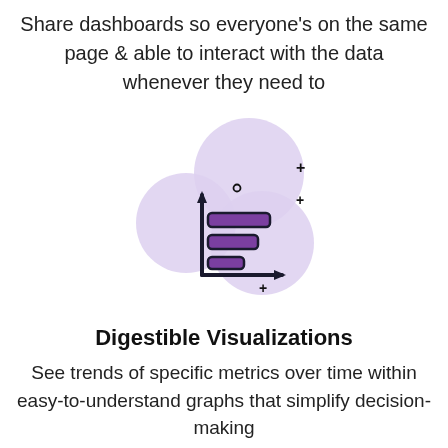Share dashboards so everyone's on the same page & able to interact with the data whenever they need to
[Figure (illustration): An icon showing a bar chart with horizontal bars and axes, surrounded by three overlapping soft purple circles, with small plus and circle symbols scattered around]
Digestible Visualizations
See trends of specific metrics over time within easy-to-understand graphs that simplify decision-making